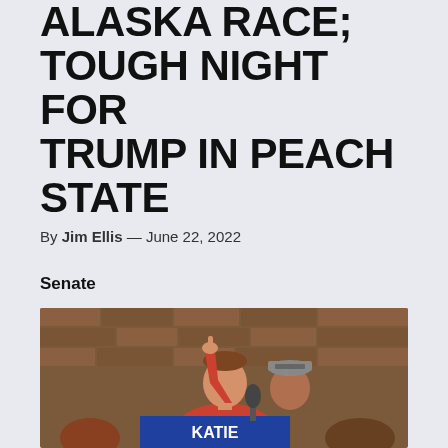ALASKA RACE; TOUGH NIGHT FOR TRUMP IN PEACH STATE
By Jim Ellis — June 22, 2022
Senate
[Figure (photo): A woman in a red shirt raises her hand/finger in the air at a campaign rally. Behind her is a brick wall and a campaign banner reading 'KATIE' with a man in a 'KATIE BRITT' cap visible behind her. Campaign signs and a microphone are visible.]